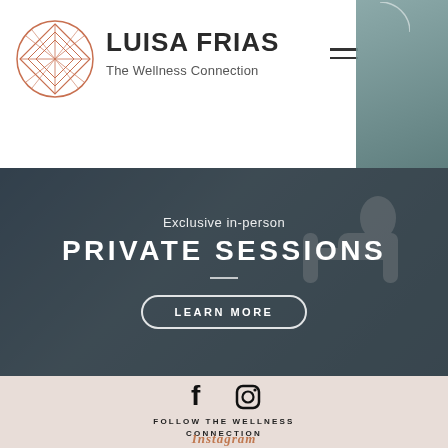[Figure (logo): Luisa Frias geometric diamond/rose gold logo circle with lattice pattern]
LUISA FRIAS
The Wellness Connection
[Figure (photo): Pilates reformer session background image with person exercising, dark teal overlay]
Exclusive in-person
PRIVATE SESSIONS
LEARN MORE
[Figure (illustration): Facebook and Instagram social media icons in black]
FOLLOW THE WELLNESS CONNECTION
Instagram